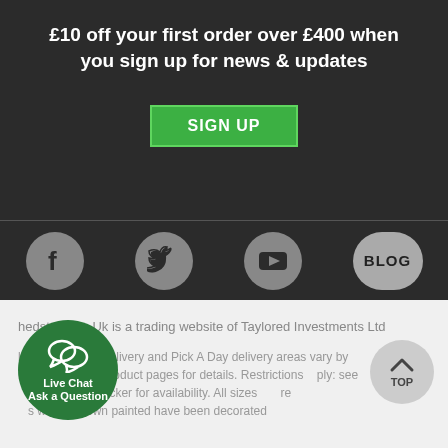£10 off your first order over £400 when you sign up for news & updates
[Figure (other): Green SIGN UP button]
[Figure (other): Social media icons row: Facebook, Twitter, YouTube, Blog]
hedstore.Co.Uk is a trading website of Taylored Investments Ltd
ll p VAT. *Free delivery and Pick A Day delivery areas vary by individual product pages for details. Restrictions apply: see post code checker for availability. All sizes are where shown painted have been decorated
[Figure (other): Live Chat Ask a Question green circle button]
[Figure (other): TOP back-to-top grey circle button]
This site uses cookies. About our cookie policy.